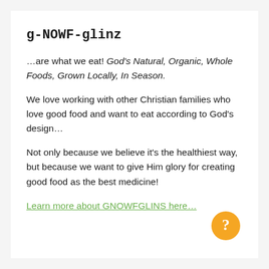g-NOWF-glinz
…are what we eat! God's Natural, Organic, Whole Foods, Grown Locally, In Season.
We love working with other Christian families who love good food and want to eat according to God's design…
Not only because we believe it's the healthiest way, but because we want to give Him glory for creating good food as the best medicine!
Learn more about GNOWFGLINS here…